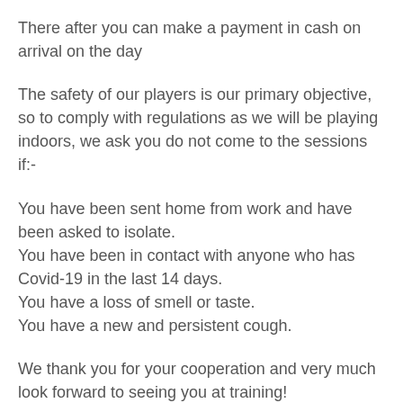There after you can make a payment in cash on arrival on the day
The safety of our players is our primary objective, so to comply with regulations as we will be playing indoors, we ask you do not come to the sessions if:-
You have been sent home from work and have been asked to isolate.
You have been in contact with anyone who has Covid-19 in the last 14 days.
You have a loss of smell or taste.
You have a new and persistent cough.
We thank you for your cooperation and very much look forward to seeing you at training!